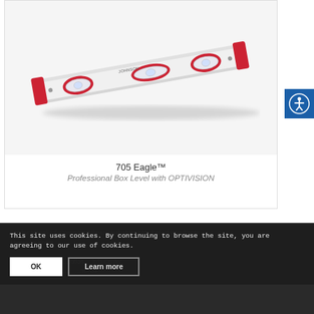[Figure (photo): A spirit/box level tool (705 Eagle) shown diagonally, white and red, with bubble vials visible, on a light gray background.]
705 Eagle™
Professional Box Level with OPTIVISION
This site uses cookies. By continuing to browse the site, you are agreeing to our use of cookies.
Site by: Visuali | © Copyright Johnson Industries Ltd. Enfold WordPress Theme by Kriest...
Products   New...   ...vation...   Info Center
Video Gallery   ...   ...   ...act Us